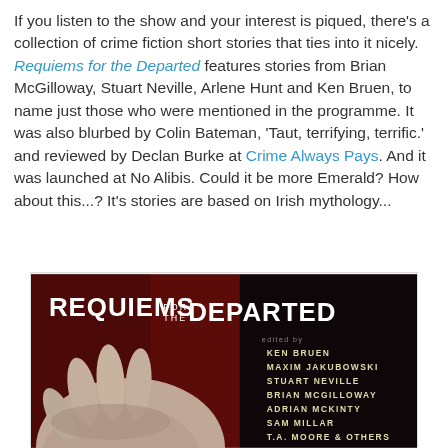If you listen to the show and your interest is piqued, there's a collection of crime fiction short stories that ties into it nicely. Requiems for the Departed features stories from Brian McGilloway, Stuart Neville, Arlene Hunt and Ken Bruen, to name just those who were mentioned in the programme. It was also blurbed by Colin Bateman, 'Taut, terrifying, terrific.' and reviewed by Declan Burke at Crime Always Pays. And it was launched at No Alibis. Could it be more Emerald? How about this...? It's stories are based on Irish mythology...
[Figure (photo): Book cover of 'Requiems for the Departed' — dark red and black background with a hand holding something, white bold title text at top, author list including KEN BRUEN, MAXIM JAKUBOWSKI, STUART NEVILLE, BRIAN MCGILLOWAY, ADRIAN MCKINTY, SAM MILLAR, T.A. MOORE & OTHERS on the right side.]